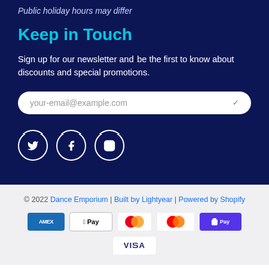Public holiday hours may differ
Keep in Touch
Sign up for our newsletter and be the first to know about discounts and special promotions.
your-email@example.com
[Figure (other): Social media icons: Twitter, Facebook, Instagram in white circle borders]
© 2022 Dance Emporium | Built by Lightyear | Powered by Shopify
[Figure (other): Payment method icons: Amex, Apple Pay, Mastercard (two circles), Shop Pay, Visa]